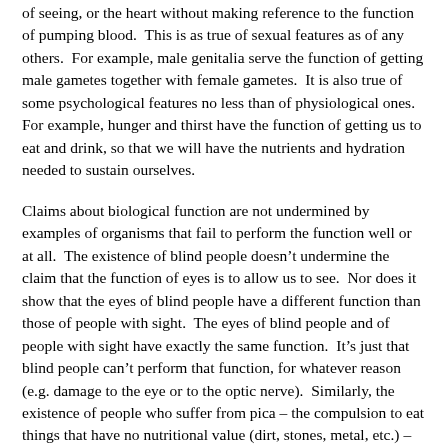of seeing, or the heart without making reference to the function of pumping blood.  This is as true of sexual features as of any others.  For example, male genitalia serve the function of getting male gametes together with female gametes.  It is also true of some psychological features no less than of physiological ones.  For example, hunger and thirst have the function of getting us to eat and drink, so that we will have the nutrients and hydration needed to sustain ourselves.
Claims about biological function are not undermined by examples of organisms that fail to perform the function well or at all.  The existence of blind people doesn't undermine the claim that the function of eyes is to allow us to see.  Nor does it show that the eyes of blind people have a different function than those of people with sight.  The eyes of blind people and of people with sight have exactly the same function.  It's just that blind people can't perform that function, for whatever reason (e.g. damage to the eye or to the optic nerve).  Similarly, the existence of people who suffer from pica – the compulsion to eat things that have no nutritional value (dirt, stones, metal, etc.) – does not cast any doubt on the claim that hunger has the function of getting us to take in nutrients by eating.  Nor does it show that hunger has a different function in people who suffer from pica than it does in other people.  Hunger has exactly the same biological function in everyone.  It's just that, because of a psychological